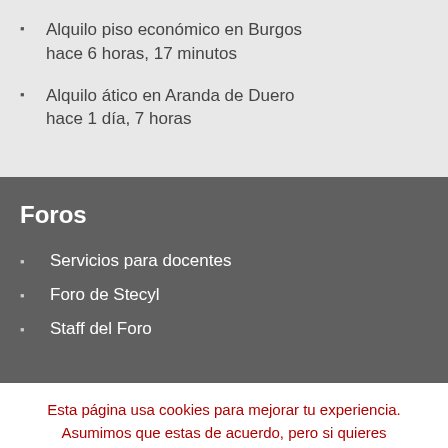Alquilo piso económico en Burgos hace 6 horas, 17 minutos
Alquilo ático en Aranda de Duero hace 1 día, 7 horas
Foros
Servicios para docentes
Foro de Stecyl
Staff del Foro
Esta página usa cookies para mejorar tu experiencia. Asumimos que estas de acuerdo, pero si quieres descativarlas, revisa la politica de cookies.